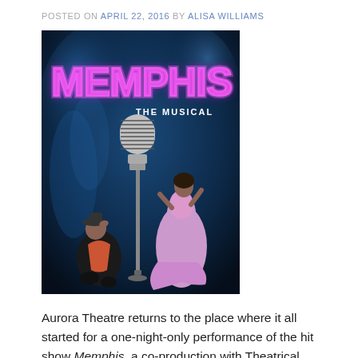POSTED ON APRIL 22, 2016 BY ALISA WILLIAMS
[Figure (photo): Promotional poster for Memphis: The Musical. Dark blue smoky background with large neon pink text reading MEMPHIS and subtitle THE MUSICAL. A large vintage chrome microphone stand is centered. A man in dark clothes kneels at the lower left, and a woman in a flowing pink/lavender dress dances at the lower right.]
Aurora Theatre returns to the place where it all started for a one-night-only performance of the hit show Memphis, a co-production with Theatrical